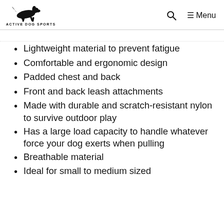Active Dog Sports — Search — Menu
Lightweight material to prevent fatigue
Comfortable and ergonomic design
Padded chest and back
Front and back leash attachments
Made with durable and scratch-resistant nylon to survive outdoor play
Has a large load capacity to handle whatever force your dog exerts when pulling
Breathable material
Ideal for small to medium sized